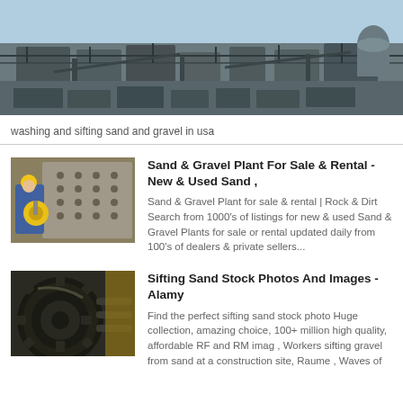[Figure (photo): Aerial/overhead view of industrial sand and gravel washing facility with metal infrastructure, tanks, and conveyor systems outdoors under a clear sky.]
washing and sifting sand and gravel in usa
[Figure (photo): Worker in blue coveralls and yellow hard hat operating or inspecting industrial machinery (drill or rotary tool) with yellow disc component.]
Sand & Gravel Plant For Sale & Rental - New & Used Sand ,
Sand & Gravel Plant for sale & rental | Rock & Dirt Search from 1000's of listings for new & used Sand & Gravel Plants for sale or rental updated daily from 100's of dealers & private sellers...
[Figure (photo): Close-up of large industrial gear or sprocket chain mechanism, dark metal, with yellow machinery visible in background.]
Sifting Sand Stock Photos And Images - Alamy
Find the perfect sifting sand stock photo Huge collection, amazing choice, 100+ million high quality, affordable RF and RM imag , Workers sifting gravel from sand at a construction site, Raume , Waves of